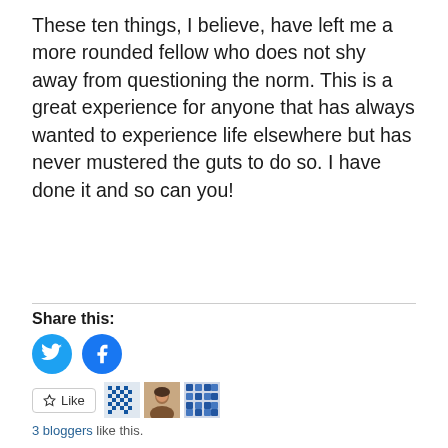These ten things, I believe, have left me a more rounded fellow who does not shy away from questioning the norm. This is a great experience for anyone that has always wanted to experience life elsewhere but has never mustered the guts to do so. I have done it and so can you!
Share this:
[Figure (other): Twitter and Facebook share icon buttons (circular blue icons)]
[Figure (other): Like button with 3 blogger avatars — a pixel-art avatar, a photo avatar, and a blue grid avatar]
3 bloggers like this.
7 lessons I have learned over the past 7 years: My immigrant story
February 22, 2022